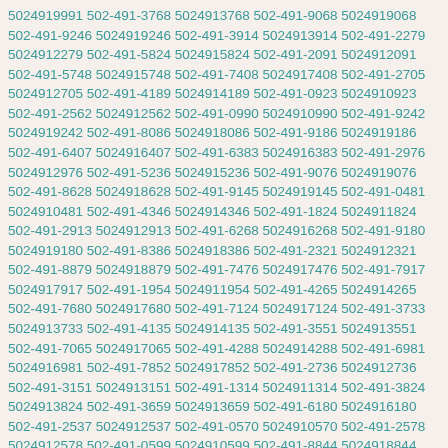5024919991 502-491-3768 5024913768 502-491-9068 5024919068 502-491-9246 5024919246 502-491-3914 5024913914 502-491-2279 5024912279 502-491-5824 5024915824 502-491-2091 5024912091 502-491-5748 5024915748 502-491-7408 5024917408 502-491-2705 5024912705 502-491-4189 5024914189 502-491-0923 5024910923 502-491-2562 5024912562 502-491-0990 5024910990 502-491-9242 5024919242 502-491-8086 5024918086 502-491-9186 5024919186 502-491-6407 5024916407 502-491-6383 5024916383 502-491-2976 5024912976 502-491-5236 5024915236 502-491-9076 5024919076 502-491-8628 5024918628 502-491-9145 5024919145 502-491-0481 5024910481 502-491-4346 5024914346 502-491-1824 5024911824 502-491-2913 5024912913 502-491-6268 5024916268 502-491-9180 5024919180 502-491-8386 5024918386 502-491-2321 5024912321 502-491-8879 5024918879 502-491-7476 5024917476 502-491-7917 5024917917 502-491-1954 5024911954 502-491-4265 5024914265 502-491-7680 5024917680 502-491-7124 5024917124 502-491-3733 5024913733 502-491-4135 5024914135 502-491-3551 5024913551 502-491-7065 5024917065 502-491-4288 5024914288 502-491-6981 5024916981 502-491-7852 5024917852 502-491-2736 5024912736 502-491-3151 5024913151 502-491-1314 5024911314 502-491-3824 5024913824 502-491-3659 5024913659 502-491-6180 5024916180 502-491-2537 5024912537 502-491-0570 5024910570 502-491-2578 5024912578 502-491-0599 5024910599 502-491-8844 5024918844 502-491-5541 5024915541 502-491-3963 5024913963 502-491-6822 5024916822 502-491-2882 5024912882 502-491-8697 5024918697 502-491-7330 5024917330 502-491-8158 5024918158 502-491-1241 5024911241 502-491-0347 5024910347 502-491-5338 5024915338 502-